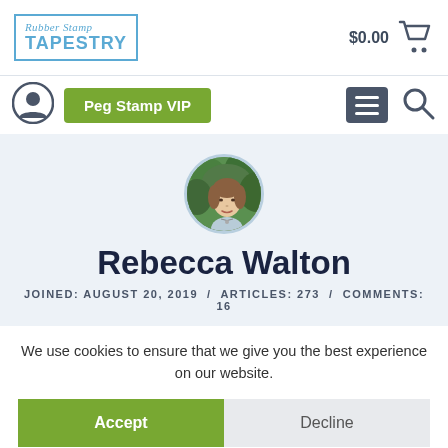[Figure (logo): Rubber Stamp Tapestery logo in blue with border box]
$0.00
[Figure (illustration): Shopping cart icon]
[Figure (illustration): User/profile circle icon]
Peg Stamp VIP
[Figure (illustration): Hamburger menu icon (three horizontal lines)]
[Figure (illustration): Search/magnifying glass icon]
[Figure (photo): Circular avatar photo of Rebecca Walton, a woman with brown hair against green foliage background]
Rebecca Walton
JOINED: AUGUST 20, 2019  /  ARTICLES: 273  /  COMMENTS: 16
We use cookies to ensure that we give you the best experience on our website.
Accept
Decline